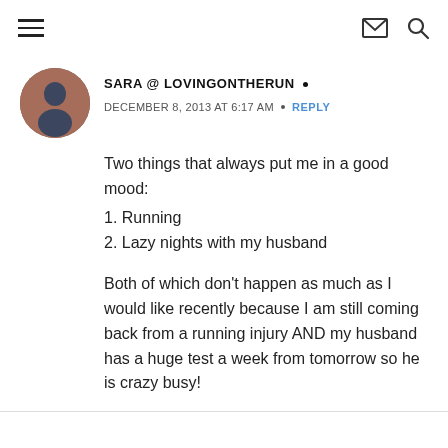Navigation header with hamburger menu, email icon, and search icon
SARA @ LOVINGONTHERUN •
DECEMBER 8, 2013 AT 6:17 AM • REPLY
Two things that always put me in a good mood:
1. Running
2. Lazy nights with my husband
Both of which don't happen as much as I would like recently because I am still coming back from a running injury AND my husband has a huge test a week from tomorrow so he is crazy busy!